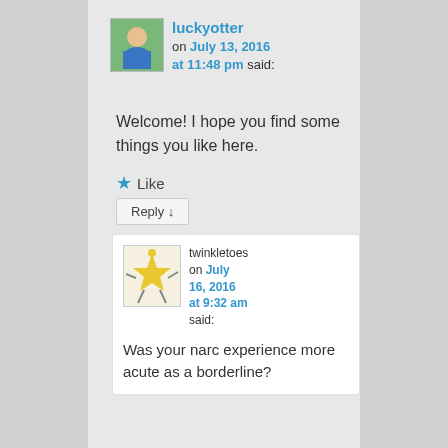luckyotter on July 13, 2016 at 11:48 pm said:
Welcome! I hope you find some things you like here.
★ Like
Reply ↓
twinkletoes on July 16, 2016 at 9:32 am said:
Was your narc experience more acute as a borderline?